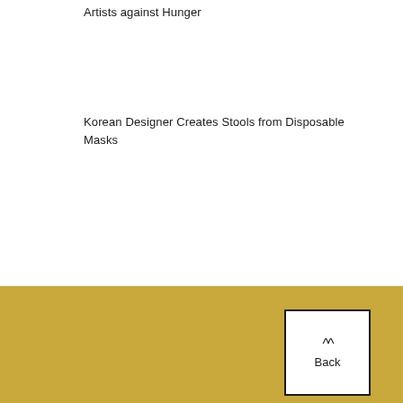Artists against Hunger
Korean Designer Creates Stools from Disposable Masks
[Figure (other): Gold/yellow footer background section with a Back button (white box with double chevron and 'Back' text) in the bottom right corner]